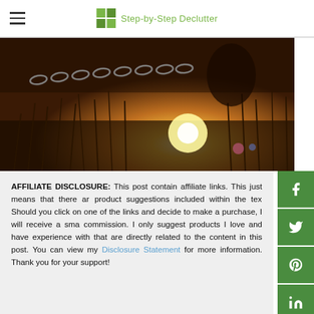Step-by-Step Declutter
[Figure (photo): Hero image showing a person holding a chain against a sunset field with tall grasses and bright sunlight flare]
AFFILIATE DISCLOSURE: This post contains affiliate links. This just means that there are product suggestions included within the text. Should you click on one of the links and decide to make a purchase, I will receive a small commission. I only suggest products I love and have experience with that are directly related to the content in this post. You can view my Disclosure Statement for more information. Thank you for your support!